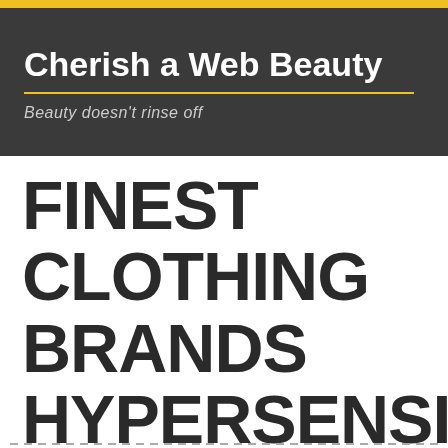Cherish a Web Beauty
Beauty doesn't rinse off
FINEST CLOTHING BRANDS FOR HYPERSENSITIVE SKIN